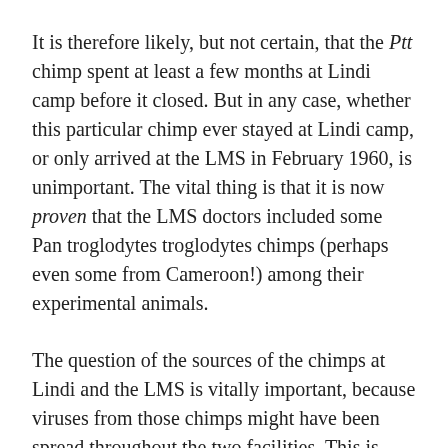It is therefore likely, but not certain, that the Ptt chimp spent at least a few months at Lindi camp before it closed. But in any case, whether this particular chimp ever stayed at Lindi camp, or only arrived at the LMS in February 1960, is unimportant. The vital thing is that it is now proven that the LMS doctors included some Pan troglodytes troglodytes chimps (perhaps even some from Cameroon!) among their experimental animals.
The question of the sources of the chimps at Lindi and the LMS is vitally important, because viruses from those chimps might have been spread throughout the two facilities. This is because co-caging of chimps was routine at both Lindi and the LMS, and in both places the chimps and bonobos were allowed to play together (at Lindi in a large